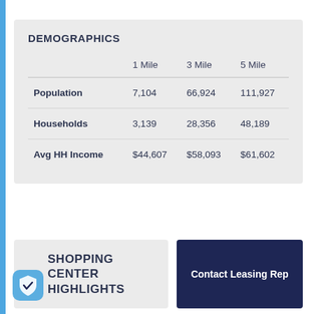DEMOGRAPHICS
|  | 1 Mile | 3 Mile | 5 Mile |
| --- | --- | --- | --- |
| Population | 7,104 | 66,924 | 111,927 |
| Households | 3,139 | 28,356 | 48,189 |
| Avg HH Income | $44,607 | $58,093 | $61,602 |
SHOPPING CENTER HIGHLIGHTS
Contact Leasing Rep